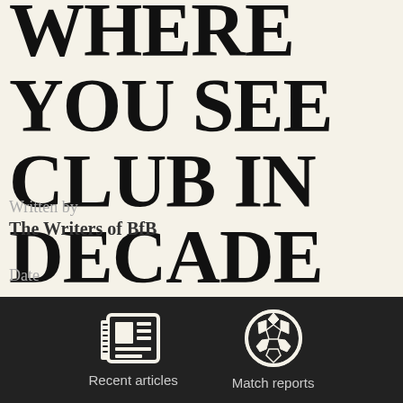WHERE YOU SEE CLUB IN DECADE
Written by
The Writers of BfB
Date
[Figure (illustration): Newspaper icon representing Recent articles]
Recent articles
[Figure (illustration): Football/soccer ball icon representing Match reports]
Match reports